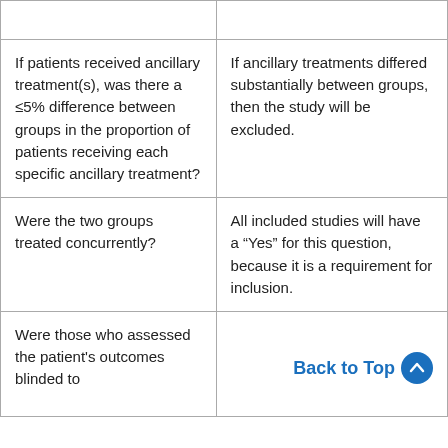|  |  |
| If patients received ancillary treatment(s), was there a ≤5% difference between groups in the proportion of patients receiving each specific ancillary treatment? | If ancillary treatments differed substantially between groups, then the study will be excluded. |
| Were the two groups treated concurrently? | All included studies will have a "Yes" for this question, because it is a requirement for inclusion. |
| Were those who assessed the patient's outcomes blinded to | Back to Top ↑ |